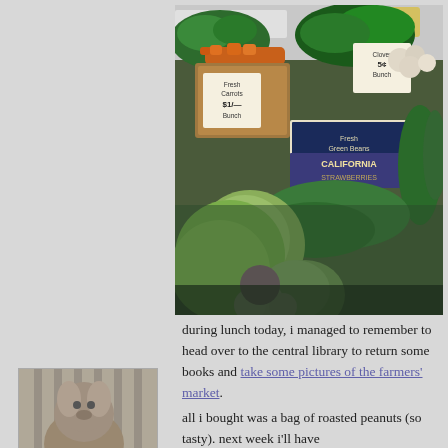[Figure (photo): Farmers market stall with fresh vegetables: carrots, cabbage, green beans, green peppers, herbs, onions, and handwritten price signs including 'California Strawberries $1.50 LB', 'Fresh Carrots $1/-- Bunch', 'Clover 5¢ Bunch']
during lunch today, i managed to remember to head over to the central library to return some books and take some pictures of the farmers' market.
all i bought was a bag of roasted peanuts (so tasty). next week i'll have
[Figure (photo): Small black and white photo of an animal (appears to be a large dog or bear) sitting behind bars or a fence, with a small blue object in front]